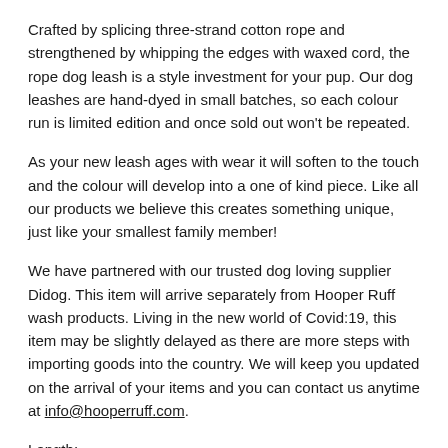Crafted by splicing three-strand cotton rope and strengthened by whipping the edges with waxed cord, the rope dog leash is a style investment for your pup. Our dog leashes are hand-dyed in small batches, so each colour run is limited edition and once sold out won't be repeated.
As your new leash ages with wear it will soften to the touch and the colour will develop into a one of kind piece. Like all our products we believe this creates something unique, just like your smallest family member!
We have partnered with our trusted dog loving supplier Didog. This item will arrive separately from Hooper Ruff wash products. Living in the new world of Covid:19, this item may be slightly delayed as there are more steps with importing goods into the country. We will keep you updated on the arrival of your items and you can contact us anytime at info@hooperruff.com.
Length:
Leash is 150cm in length